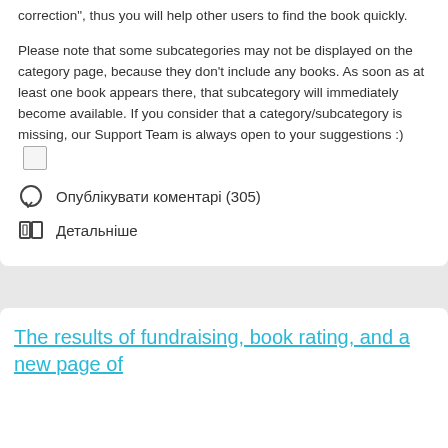correction", thus you will help other users to find the book quickly.
Please note that some subcategories may not be displayed on the category page, because they don't include any books. As soon as at least one book appears there, that subcategory will immediately become available. If you consider that a category/subcategory is missing, our Support Team is always open to your suggestions :)
Опублікувати коментарі (305)
Детальніше
The results of fundraising, book rating, and a new page of